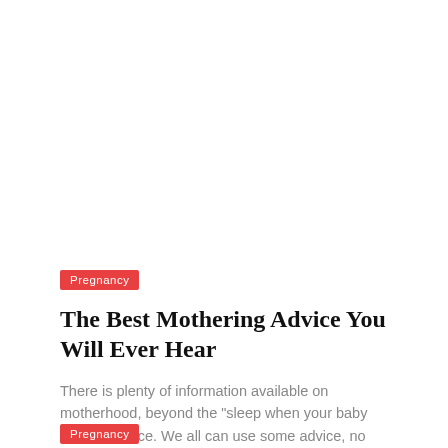Pregnancy
The Best Mothering Advice You Will Ever Hear
There is plenty of information available on motherhood, beyond the "sleep when your baby sleeps" advice. We all can use some advice, no matter if...
Pregnancy